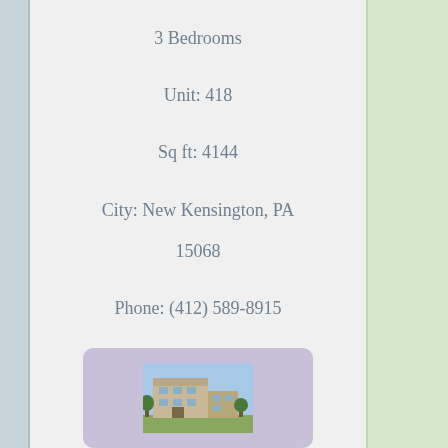3 Bedrooms
Unit: 418
Sq ft: 4144
City: New Kensington, PA
15068
Phone: (412) 589-8915
[Figure (photo): Small thumbnail photo of an apartment or house building exterior]